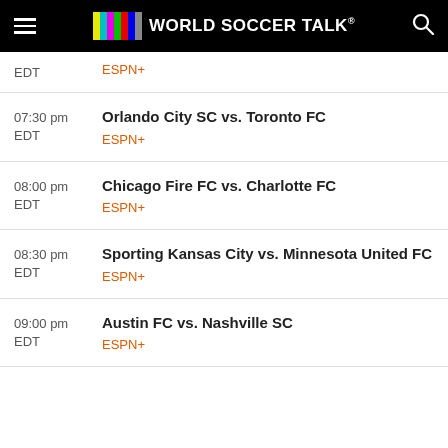World Soccer Talk
EDT | ESPN+
07:30 pm EDT | Orlando City SC vs. Toronto FC | ESPN+
08:00 pm EDT | Chicago Fire FC vs. Charlotte FC | ESPN+
08:30 pm EDT | Sporting Kansas City vs. Minnesota United FC | ESPN+
09:00 pm EDT | Austin FC vs. Nashville SC | ESPN+